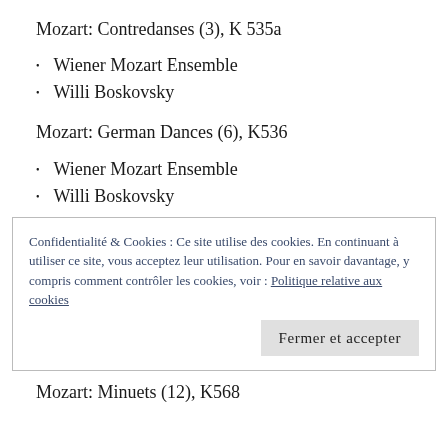Mozart: Contredanses (3), K 535a
Wiener Mozart Ensemble
Willi Boskovsky
Mozart: German Dances (6), K536
Wiener Mozart Ensemble
Willi Boskovsky
Confidentialité & Cookies : Ce site utilise des cookies. En continuant à utiliser ce site, vous acceptez leur utilisation. Pour en savoir davantage, y compris comment contrôler les cookies, voir : Politique relative aux cookies
Fermer et accepter
Mozart: Minuets (12), K568